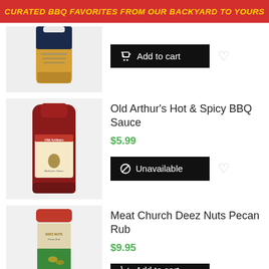CURATED BBQ FAVORITES FROM OUR BACKYARD TO YOURS
[Figure (photo): Mustard style BBQ sauce bottle, partially cropped at top]
[Figure (other): Add to cart button]
[Figure (photo): Old Arthur's Barbecue Sauce bottle]
Old Arthur's Hot & Spicy BBQ Sauce
$5.99
[Figure (other): Unavailable button]
[Figure (photo): Meat Church Deez Nuts Pecan Rub spice container]
Meat Church Deez Nuts Pecan Rub
$9.95
[Figure (other): Add to cart button (partially visible)]